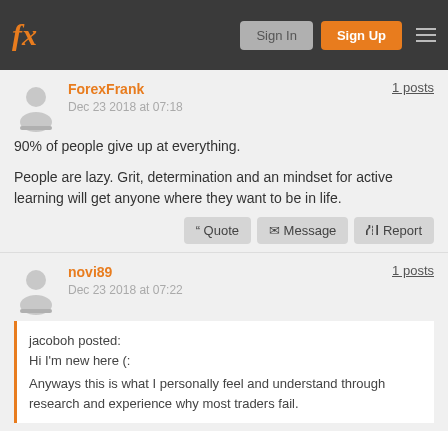fx | Sign In | Sign Up
ForexFrank
Dec 23 2018 at 07:18
1 posts
90% of people give up at everything.

People are lazy. Grit, determination and an mindset for active learning will get anyone where they want to be in life.
Quote | Message | Report
novi89
Dec 23 2018 at 07:22
1 posts
jacoboh posted:
Hi I'm new here (:

Anyways this is what I personally feel and understand through research and experience why most traders fail.